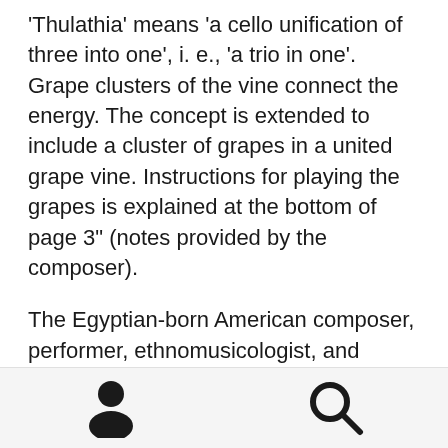'Thulathia' means 'a cello unification of three into one', i. e., 'a trio in one'. Grape clusters of the vine connect the energy. The concept is extended to include a cluster of grapes in a united grape vine. Instructions for playing the grapes is explained at the bottom of page 3" (notes provided by the composer).
The Egyptian-born American composer, performer, ethnomusicologist, and educator El-Dabh came to the U.S. in 1950, becoming a part of the New York music scene that included Cage, Varèse, and Hovhaness. He went on to study composition with Krenek, ...
[Figure (other): Bottom navigation bar with a person icon on the left and a search/magnifying glass icon on the right, on a light gray background.]